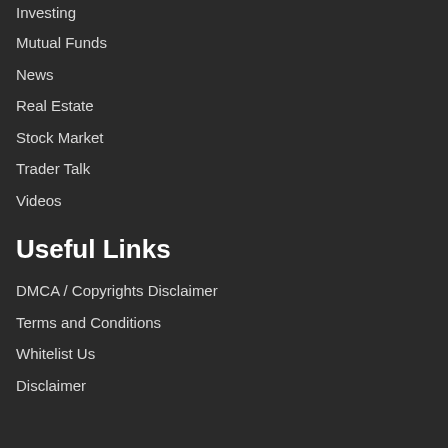Investing
Mutual Funds
News
Real Estate
Stock Market
Trader Talk
Videos
Useful Links
DMCA / Copyrights Disclaimer
Terms and Conditions
Whitelist Us
Disclaimer